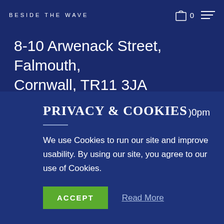BESIDE THE WAVE
8-10 Arwenack Street, Falmouth, Cornwall, TR11 3JA
01326 211132
gallery@beside-the-wave.co.uk
https://beside-the-wave.co.uk
Design by 247
PRIVACY & COOKIES
We use Cookies to run our site and improve usability. By using our site, you agree to our use of Cookies.